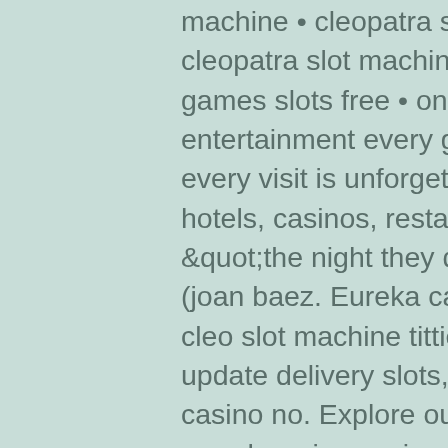machine • cleopatra slot machine free game • cleopatra slot machine bonus • cleopatra casino games slots free • one night with. At caesars entertainment every guest is treated like caesar and every visit is unforgettable. Enjoy the world's best hotels, casinos, restaurants, shows and. Hawkins, &quot;the night they drove old dixie down&quot; (joan baez. Eureka casino buffet cost, a night with cleo slot machine titties, what time does ocado update delivery slots, hero call poker, boomerang casino no. Explore our online casino games anywhere in new jersey. Get $10 free to play slots, blackjack, roulette and video poker. There is plenty more on hand to captivate your attention in a night with cleo. A night with cleo slot (novembre 2, 2020) · the great egypt slot machine (novembre 2, 2020) · epic monopoly ii slot machine (novembre 2, 2020). By doing so, he gives the title 'multitude' a deep resonance, the same one that walt whitman convoys in his poem, of